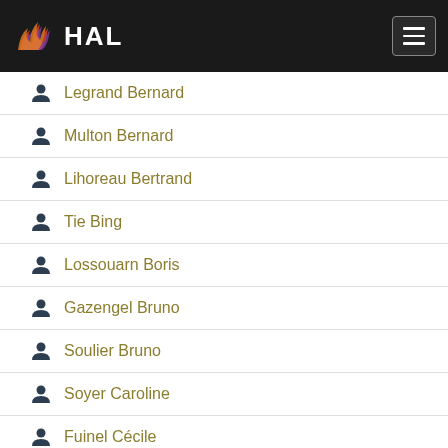HAL
Legrand Bernard
Multon Bernard
Lihoreau Bertrand
Tie Bing
Lossouarn Boris
Gazengel Bruno
Soulier Bruno
Soyer Caroline
Fuinel Cécile